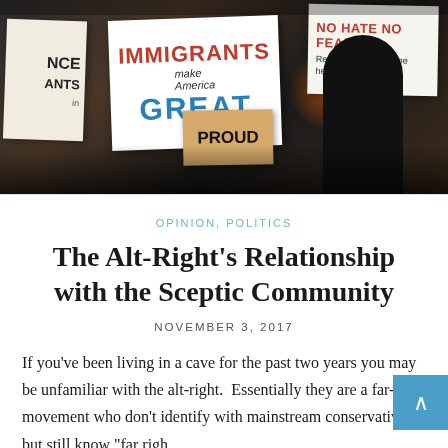[Figure (photo): Protest photo showing people holding signs including 'IMMIGRANTS make America GREAT', 'NO HATE NO FEAR Refugees are welcome here!', and a cardboard sign saying 'PROUD'. Dark nighttime scene with orange glow in background.]
OPINION, POLITICS
The Alt-Right's Relationship with the Sceptic Community
NOVEMBER 3, 2017
If you've been living in a cave for the past two years you may be unfamiliar with the alt-right.  Essentially they are a far-right movement who don't identify with mainstream conservatives but still know "far right" has enough negative connotations